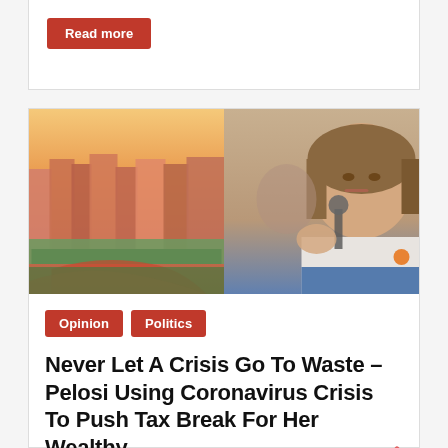Read more
[Figure (photo): Aerial view of San Francisco cityscape with colorful houses and winding street at sunset]
[Figure (photo): Nancy Pelosi speaking at a podium with microphone, wearing a white blazer with an orange ribbon]
Opinion  Politics
Never Let A Crisis Go To Waste – Pelosi Using Coronavirus Crisis To Push Tax Break For Her Wealthy